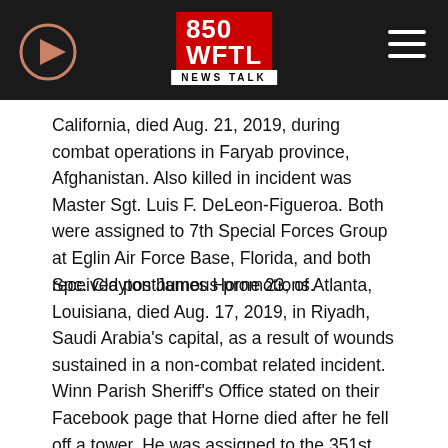[Figure (logo): 850 WFTL News Talk radio station logo in red and white]
California, died Aug. 21, 2019, during combat operations in Faryab province, Afghanistan. Also killed in incident was Master Sgt. Luis F. DeLeon-Figueroa. Both were assigned to 7th Special Forces Group at Eglin Air Force Base, Florida, and both received posthumous promotions.
Spc. Clayton James Horne 23, of Atlanta, Louisiana, died Aug. 17, 2019, in Riyadh, Saudi Arabia's capital, as a result of wounds sustained in a non-combat related incident. Winn Parish Sheriff's Office stated on their Facebook page that Horne died after he fell off a tower. He was assigned to the 351st Military Police Company, 160th Military Police Battalion, an Army Reserve unit out of Ocala, Florida.